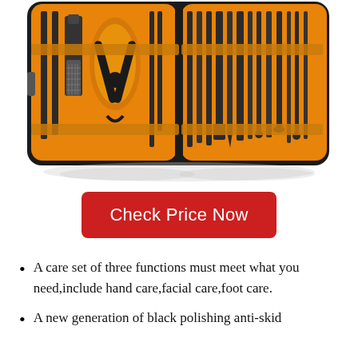[Figure (photo): An open manicure/pedicure kit case with orange/yellow leather interior holding approximately 18 black stainless steel grooming tools including clippers, scissors, tweezers, files, and other nail care instruments.]
Check Price Now
A care set of three functions must meet what you need,include hand care,facial care,foot care.
A new generation of black polishing anti-skid